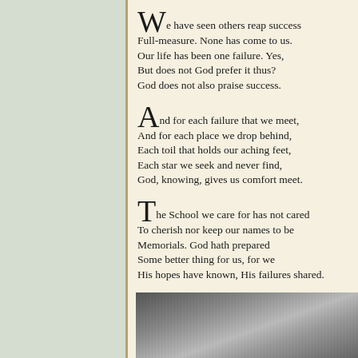We have seen others reap success
Full-measure. None has come to us.
Our life has been one failure. Yes,
But does not God prefer it thus?
God does not also praise success.
And for each failure that we meet,
And for each place we drop behind,
Each toil that holds our aching feet,
Each star we seek and never find,
God, knowing, gives us comfort meet.
The School we care for has not cared
To cherish nor keep our names to be
Memorials. God hath prepared
Some better thing for us, for we
His hopes have known, His failures shared.
November 1912
[Figure (photo): Black and white photograph partially visible at the bottom of the page]